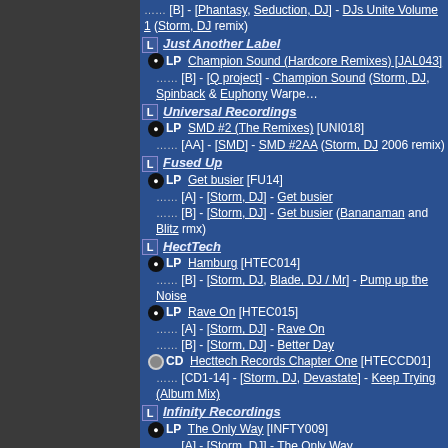[B] - [Phantasy, Seduction, DJ] - DJs Unite Volume 1 (Storm, DJ remix)
L Just Another Label
LP Champion Sound (Hardcore Remixes) [JAL043]
[B] - [Q project] - Champion Sound (Storm, DJ, Spinback & Euphony Warpe...
L Universal Recordings
LP SMD #2 (The Remixes) [UNI018]
[AA] - [SMD] - SMD #2AA (Storm, DJ 2006 remix)
L Fused Up
LP Get busier [FU14]
[A] - [Storm, DJ] - Get busier
[B] - [Storm, DJ] - Get busier (Bananaman and Blitz rmx)
L HectTech
LP Hamburg [HTEC014]
[B] - [Storm, DJ, Blade, DJ / Mr] - Pump up the Noise
LP Rave On [HTEC015]
[A] - [Storm, DJ] - Rave On
[B] - [Storm, DJ] - Better Day
CD Hecttech Records Chapter One [HTECCD01]
[CD1-14] - [Storm, DJ, Devastate] - Keep Trying (Album Mix)
L Infinity Recordings
LP The Only Way [INFTY009]
[A] - [Storm, DJ] - The Only Way
[B] - [Storm, DJ] - Drumz in the Music
CD The first year - Infinity [INFTYCD01]
[?] - [Storm, DJ] - I want your love